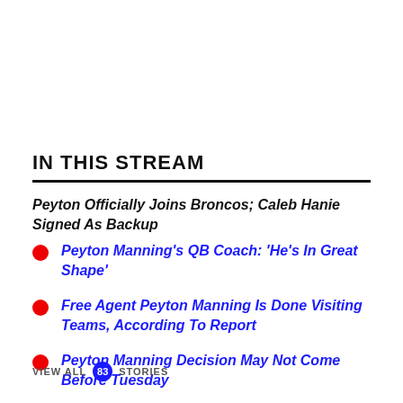IN THIS STREAM
Peyton Officially Joins Broncos; Caleb Hanie Signed As Backup
Peyton Manning's QB Coach: 'He's In Great Shape'
Free Agent Peyton Manning Is Done Visiting Teams, According To Report
Peyton Manning Decision May Not Come Before Tuesday
VIEW ALL 83 STORIES